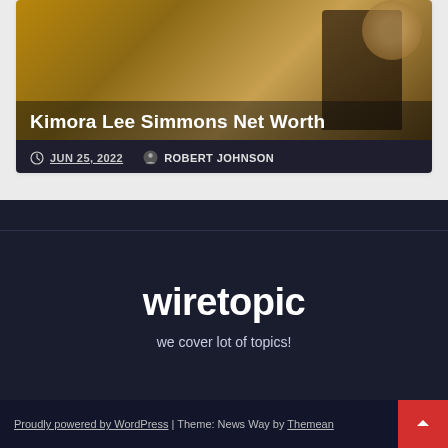[Figure (photo): Card with article thumbnail showing Kimora Lee Simmons, with overlaid title text and metadata]
Kimora Lee Simmons Net Worth
JUN 25, 2022   ROBERT JOHNSON
wiretopic
we cover lot of topics!
Proudly powered by WordPress | Theme: News Way by Themean